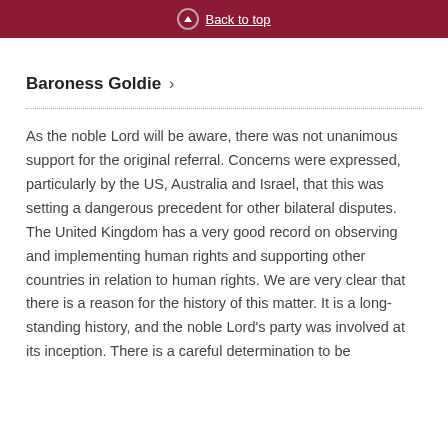Back to top
Baroness Goldie
As the noble Lord will be aware, there was not unanimous support for the original referral. Concerns were expressed, particularly by the US, Australia and Israel, that this was setting a dangerous precedent for other bilateral disputes. The United Kingdom has a very good record on observing and implementing human rights and supporting other countries in relation to human rights. We are very clear that there is a reason for the history of this matter. It is a long-standing history, and the noble Lord's party was involved at its inception. There is a careful determination to be